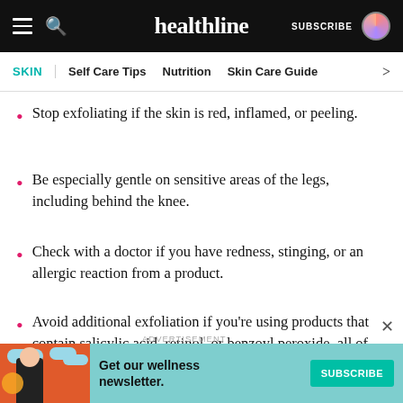healthline — SUBSCRIBE
SKIN | Self Care Tips | Nutrition | Skin Care Guide
Stop exfoliating if the skin is red, inflamed, or peeling.
Be especially gentle on sensitive areas of the legs, including behind the knee.
Check with a doctor if you have redness, stinging, or an allergic reaction from a product.
Avoid additional exfoliation if you're using products that contain salicylic acid, retinol, or benzoyl peroxide, all of which have exfoliating properties
ADVERTISEMENT — Get our wellness newsletter. SUBSCRIBE